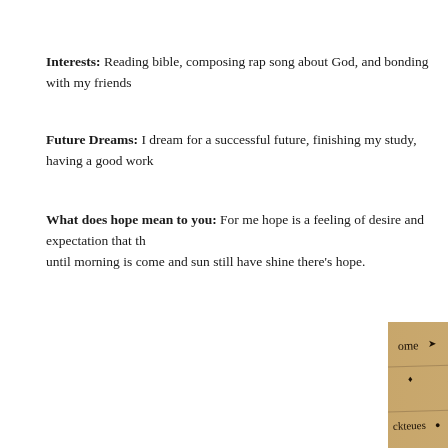Interests: Reading bible, composing rap song about God, and bonding with my friends
Future Dreams: I dream for a successful future, finishing my study, having a good work
What does hope mean to you: For me hope is a feeling of desire and expectation that th… until morning is come and sun still have shine there's hope.
[Figure (photo): A handwritten note on lined yellow/brown paper with text visible including words like 'Genuine', 'years old', 'Badminton, Basketball', 'favorite verse in the', 'I really', 'he knows', 'For me', 'possible', 'For'. A white card overlay is visible with red text reading 'Favorite Bi' and handwritten text 'Matthe', 'Kingdom c', 'your need', 'that i d', 'but ins'.]